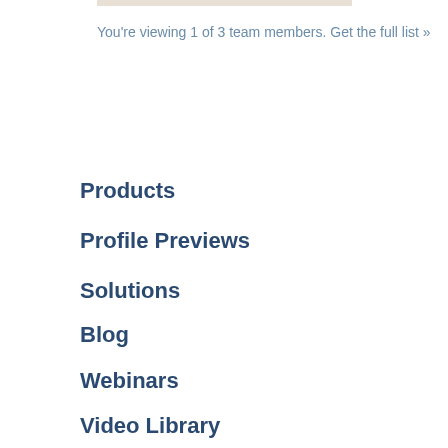[Figure (other): Top decorative bar or banner image]
You're viewing 1 of 3 team members. Get the full list »
Products
Profile Previews
Solutions
Blog
Webinars
Video Library